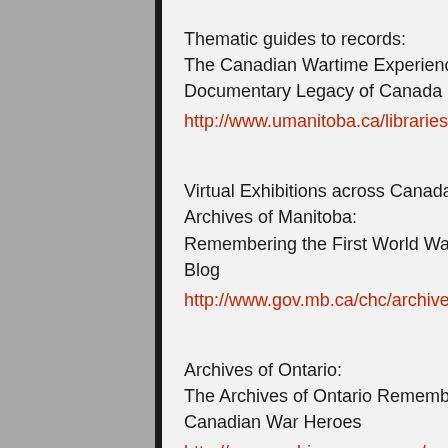Thematic guides to records:
The Canadian Wartime Experience: The Documentary Legacy of Canada at War
http://www.umanitoba.ca/libraries/archives/canada_war/
Virtual Exhibitions across Canada:
Archives of Manitoba:
Remembering the First World War – Archives Blog
http://www.gov.mb.ca/chc/archives/ww1blog/index.html
Archives of Ontario:
The Archives of Ontario Remembers our Canadian War Heroes
http://www.archives.gov.on.ca/en/explore/online/gray/index.asp
Canadian Posters from the First World War
http://www.archives.gov.on.ca/en/explore/online/posters/index.